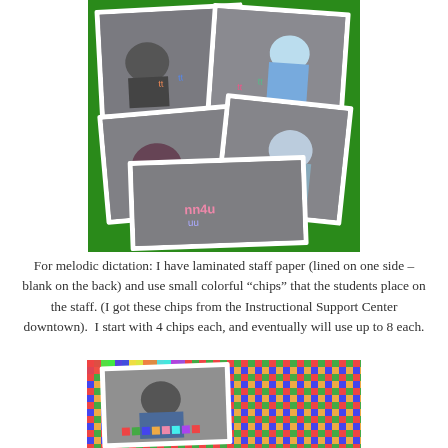[Figure (photo): Collage of three photos on a green background showing children sitting on a floor/carpet working with colorful letter or number manipulatives. Children are viewed from above.]
For melodic dictation: I have laminated staff paper (lined on one side – blank on the back) and use small colorful “chips” that the students place on the staff. (I got these chips from the Instructional Support Center downtown).  I start with 4 chips each, and eventually will use up to 8 each.
[Figure (photo): Photo of a child looking down at colorful chips/tiles arranged on a surface, with a colorful mosaic/grid pattern in the background.]